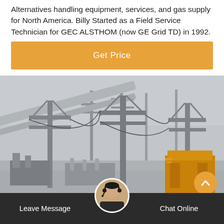Alternatives handling equipment, services, and gas supply for North America. Billy Started as a Field Service Technician for GEC ALSTHOM (now GE Grid TD) in 1992.
Get Price
[Figure (photo): Electrical substation with high-voltage transmission towers, power lines, and equipment including a yellow transformer or generator unit in the foreground.]
Leave Message
Chat Online